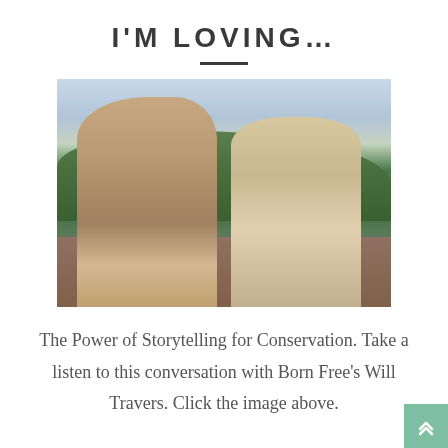I'M LOVING…
[Figure (photo): Two people standing outdoors in an African savanna landscape. On the left, a tall man in a khaki safari outfit with binoculars. On the right, an older woman wearing a blue hat and light-colored shawl. Green tree-covered hills and a cloudy sky in the background.]
The Power of Storytelling for Conservation. Take a listen to this conversation with Born Free's Will Travers. Click the image above.